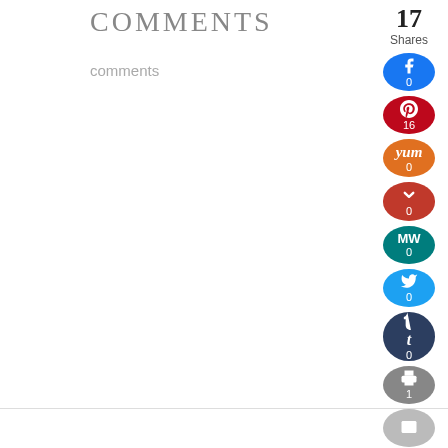COMMENTS
comments
[Figure (infographic): Social share sidebar with circular buttons: Facebook (0), Pinterest (16), Yummly (0), Pocket/P (0), MW (0), Twitter (0), Tumblr (0), Print (1), Email. Total 17 Shares displayed at top.]